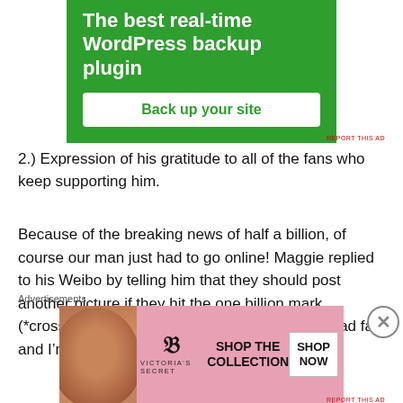[Figure (screenshot): Green advertisement banner for a WordPress backup plugin, with white bold text reading 'The best real-time WordPress backup plugin' and a white button labeled 'Back up your site']
2.) Expression of his gratitude to all of the fans who keep supporting him.
Because of the breaking news of half a billion, of course our man just had to go online! Maggie replied to his Weibo by telling him that they should post another picture if they hit the one billion mark (*crossing my fingers*). She also called him “dead fat” and I’m guessing that they were still acting as
Advertisements
[Figure (screenshot): Victoria's Secret advertisement banner with pink background, woman's photo on left, VS logo in center, 'SHOP THE COLLECTION' text, and 'SHOP NOW' button on right]